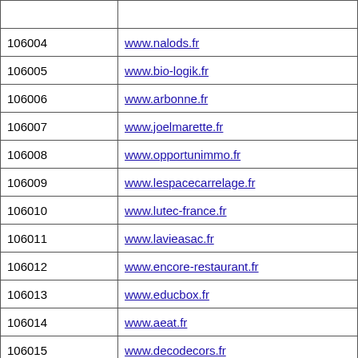| ID | URL |
| --- | --- |
| 106004 | www.nalods.fr |
| 106005 | www.bio-logik.fr |
| 106006 | www.arbonne.fr |
| 106007 | www.joelmarette.fr |
| 106008 | www.opportunimmo.fr |
| 106009 | www.lespacecarrelage.fr |
| 106010 | www.lutec-france.fr |
| 106011 | www.lavieasac.fr |
| 106012 | www.encore-restaurant.fr |
| 106013 | www.educbox.fr |
| 106014 | www.aeat.fr |
| 106015 | www.decodecors.fr |
| 106016 | www.techniprefa.fr |
| 106017 | www.bbc01.fr |
| 106018 | www.rhdpoitoucharentes.fr |